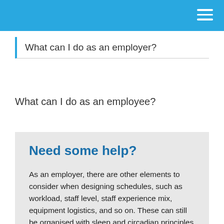What can I do as an employer?
What can I do as an employee?
Need some help?
As an employer, there are other elements to consider when designing schedules, such as workload, staff level, staff experience mix, equipment logistics, and so on. These can still be organised with sleep and circadian principles in mind.
For large workforces or complex problems, professional assistance is recommended to ensure that your schedule is optimised for all